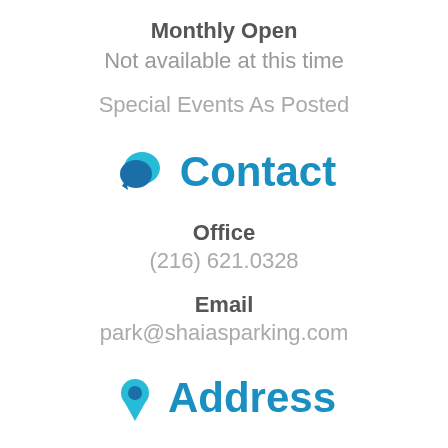Monthly Open
Not available at this time
Special Events As Posted
[Figure (illustration): Two speech bubble chat icons in teal and blue]
Contact
Office
(216) 621.0328
Email
park@shaiasparking.com
[Figure (illustration): Location pin icon in teal and blue]
Address